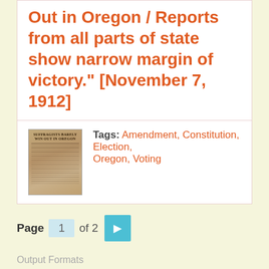Out in Oregon / Reports from all parts of state show narrow margin of victory." [November 7, 1912]
[Figure (photo): Thumbnail of a historical newspaper clipping titled 'Suffragists Barely Win Out in Oregon']
Tags: Amendment, Constitution, Election, Oregon, Voting
Page 1 of 2
Output Formats
atom, dc-rdf, dcmes-xml, json, omeka-xml, rss2